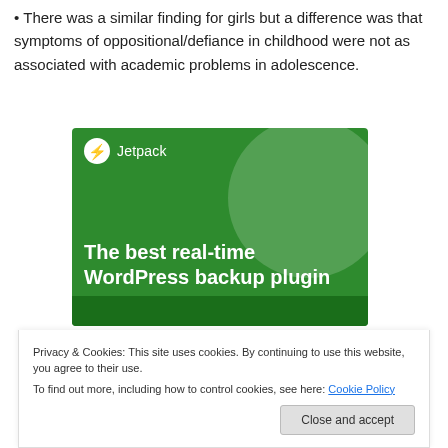There was a similar finding for girls but a difference was that symptoms of oppositional/defiance in childhood were not as associated with academic problems in adolescence.
[Figure (illustration): Jetpack WordPress plugin advertisement with green background, logo, and tagline 'The best real-time WordPress backup plugin']
Privacy & Cookies: This site uses cookies. By continuing to use this website, you agree to their use.
To find out more, including how to control cookies, see here: Cookie Policy